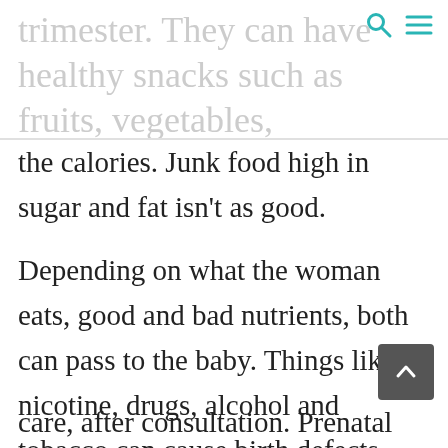trimester. They can have healthy snacks such as fruits, vegetables, cheese and crackers for add
the calories. Junk food high in sugar and fat isn't as good.
Depending on what the woman eats, good and bad nutrients, both can pass to the baby. Things like nicotine, drugs, alcohol and tobacco can cause birth defects, developmental disabilities and cause harm to the baby. Even prescription medications need to be taken with care, after consultation. Prenatal care is